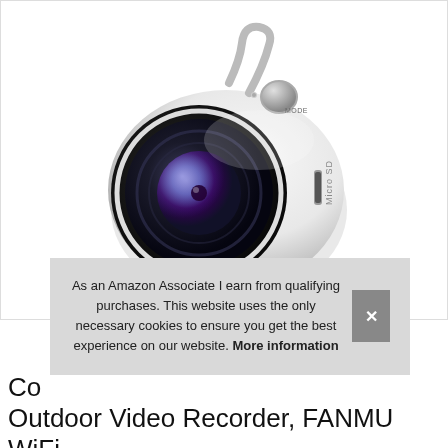[Figure (photo): A small white spherical/round WiFi mini security camera (FANMU brand) shown at an angle. It has a large black circular fisheye lens on the front, a MODE button on top, a small LED indicator, and a Micro SD card slot on the right side. The camera body is white and rounded.]
As an Amazon Associate I earn from qualifying purchases. This website uses the only necessary cookies to ensure you get the best experience on our website. More information
Co Outdoor Video Recorder, FANMU WiFi